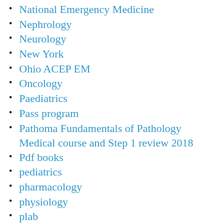National Emergency Medicine
Nephrology
Neurology
New York
Ohio ACEP EM
Oncology
Paediatrics
Pass program
Pathoma Fundamentals of Pathology Medical course and Step 1 review 2018
Pdf books
pediatrics
pharmacology
physiology
plab
premier